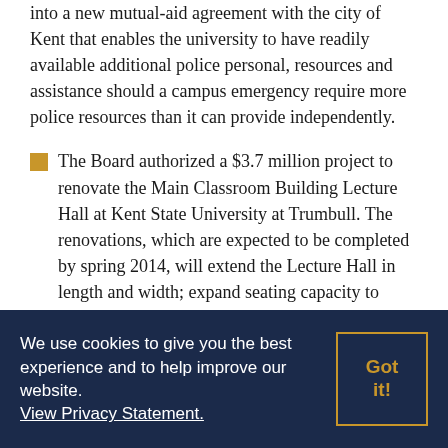into a new mutual-aid agreement with the city of Kent that enables the university to have readily available additional police personal, resources and assistance should a campus emergency require more police resources than it can provide independently.
The Board authorized a $3.7 million project to renovate the Main Classroom Building Lecture Hall at Kent State University at Trumbull. The renovations, which are expected to be completed by spring 2014, will extend the Lecture Hall in length and width; expand seating capacity to about 300; and ensure that the facility is fully
We use cookies to give you the best experience and to help improve our website. View Privacy Statement.